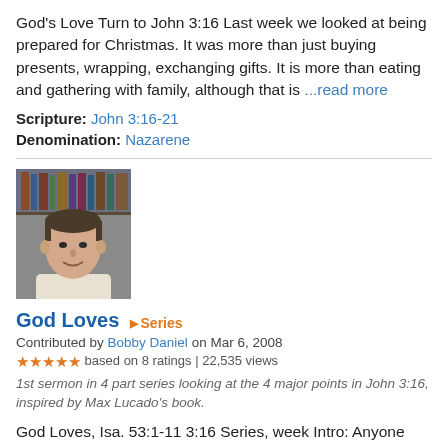God's Love Turn to John 3:16 Last week we looked at being prepared for Christmas. It was more than just buying presents, wrapping, exchanging gifts. It is more than eating and gathering with family, although that is ...read more
Scripture: John 3:16-21
Denomination: Nazarene
[Figure (photo): Headshot photo of a man with short dark hair, wearing a light-colored shirt, seated in front of bookshelves]
God Loves  Series
Contributed by Bobby Daniel on Mar 6, 2008
★★★★★ based on 8 ratings | 22,535 views
1st sermon in 4 part series looking at the 4 major points in John 3:16, inspired by Max Lucado's book.
God Loves, Isa. 53:1-11 3:16 Series, week Intro: Anyone know what tonight is? The Academy of Motion Pictures and Sciences